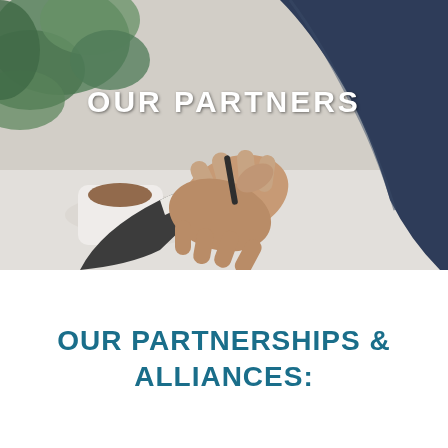[Figure (photo): Two people in business attire shaking hands over a table with a coffee cup, with a plant in the background. Text overlay reads OUR PARTNERS.]
OUR PARTNERSHIPS & ALLIANCES: